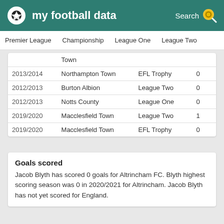my football data   Search
Premier League   Championship   League One   League Two
| Season | Club | Competition | Goals |
| --- | --- | --- | --- |
|  | Town |  |  |
| 2013/2014 | Northampton Town | EFL Trophy | 0 |
| 2012/2013 | Burton Albion | League Two | 0 |
| 2012/2013 | Notts County | League One | 0 |
| 2019/2020 | Macclesfield Town | League Two | 1 |
| 2019/2020 | Macclesfield Town | EFL Trophy | 0 |
Goals scored
Jacob Blyth has scored 0 goals for Altrincham FC. Blyth highest scoring season was 0 in 2020/2021 for Altrincham. Jacob Blyth has not yet scored for England.